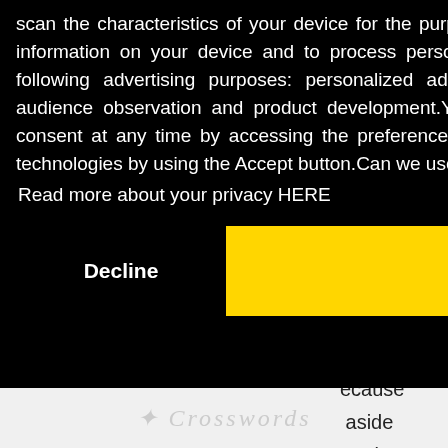[Figure (screenshot): Cookie/privacy consent overlay dialog on a website. Black background overlay with white text describing data collection purposes, a 'Read more about your privacy HERE' link, and two buttons: 'Decline' (black) and 'Got it!' (yellow). Behind the overlay, a teal/blue graphic is partially visible top-right, partial text is visible on the right side, a red scroll-to-top button appears bottom-right, and a watermarked logo appears at the bottom.]
scan the characteristics of your device for the purpose of identification, to store and / or access information on your device and to process personal data such as yours usage data, for the following advertising purposes: personalized ads and content, ad and content evaluation, audience observation and product development.You can freely lend, refuse or withdraw your consent at any time by accessing the preferences panel.You can consent to the use of these technologies by using the Accept button.Can we use your data to serve you personalized ads?
Read more about your privacy HERE
Decline
Got it !